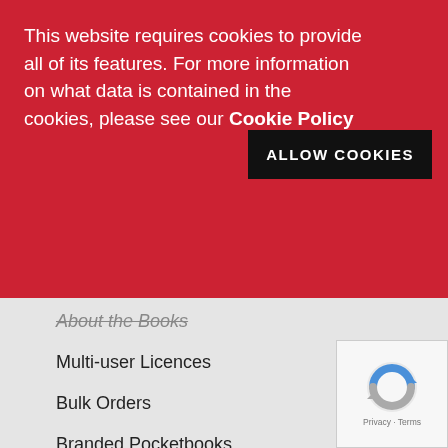This website requires cookies to provide all of its features. For more information on what data is contained in the cookies, please see our Cookie Policy
ALLOW COOKIES
About the Books
Multi-user Licences
Bulk Orders
Branded Pocketbooks
About the eBooks
Product Tags
communication skills   customer care